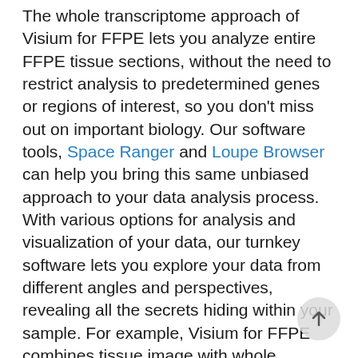The whole transcriptome approach of Visium for FFPE lets you analyze entire FFPE tissue sections, without the need to restrict analysis to predetermined genes or regions of interest, so you don't miss out on important biology. Our software tools, Space Ranger and Loupe Browser can help you bring this same unbiased approach to your data analysis process. With various options for analysis and visualization of your data, our turnkey software lets you explore your data from different angles and perspectives, revealing all the secrets hiding within your sample. For example, Visium for FFPE combines tissue image with whole transcriptome data, allowing you to view each of these aspects separately or overlay them to view gene information within the spatial context of your tissue.